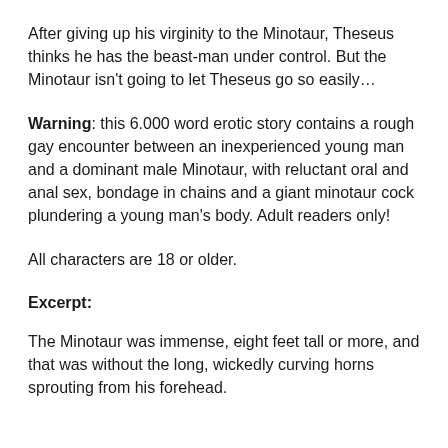After giving up his virginity to the Minotaur, Theseus thinks he has the beast-man under control. But the Minotaur isn't going to let Theseus go so easily…
Warning: this 6.000 word erotic story contains a rough gay encounter between an inexperienced young man and a dominant male Minotaur, with reluctant oral and anal sex, bondage in chains and a giant minotaur cock plundering a young man's body. Adult readers only!
All characters are 18 or older.
Excerpt:
The Minotaur was immense, eight feet tall or more, and that was without the long, wickedly curving horns sprouting from his forehead.